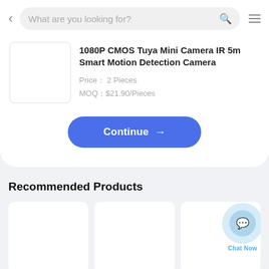[Figure (screenshot): Search bar with back arrow, placeholder text 'What are you looking for?', search icon, and hamburger menu icon]
1080P CMOS Tuya Mini Camera IR 5m Smart Motion Detection Camera
Price： 2 Pieces
MOQ：$21.90/Pieces
Continue →
Recommended Products
[Figure (photo): Three empty product card placeholders in a row]
Chat Now